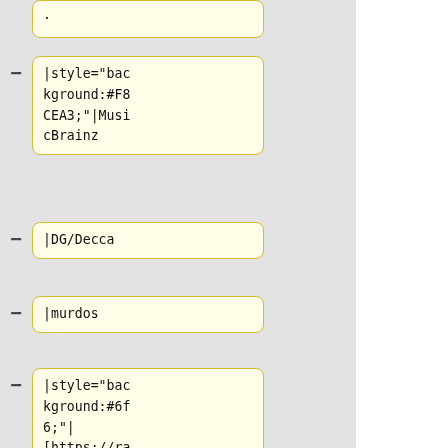.
|style="background:#F8CEA3;"|MusicBrainz
|DG/Decca
|murdos
|style="background:#6f6;"|[https://raw.githubusercontent.com//musicbrainz-userscripts/master/dgdecca_importer.user.js